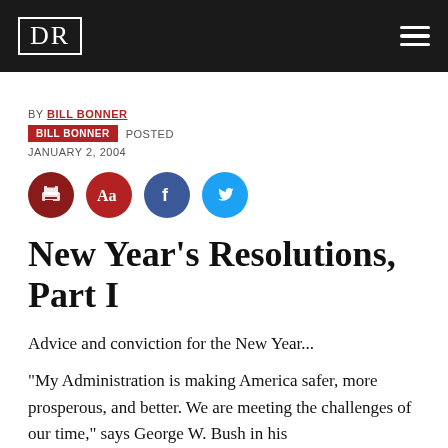DR
BY BILL BONNER
BILL BONNER POSTED
JANUARY 2, 2004
[Figure (infographic): Four circular icon buttons: dark red printer icon, dark red Aa font icon, blue Facebook icon, light blue Twitter icon]
New Year's Resolutions, Part I
Advice and conviction for the New Year...
"My Administration is making America safer, more prosperous, and better. We are meeting the challenges of our time," says George W. Bush in his